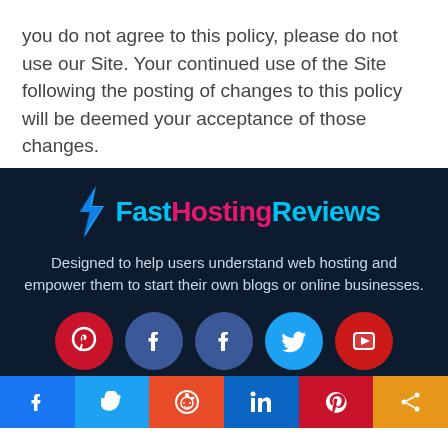you do not agree to this policy, please do not use our Site. Your continued use of the Site following the posting of changes to this policy will be deemed your acceptance of those changes.
[Figure (logo): FastHostingReviews logo with blue lightning bolt and colorful text]
Designed to help users understand web hosting and empower them to start their own blogs or online businesses.
[Figure (infographic): Row of five social media icon circles: Pinterest (red), Facebook (dark blue), Facebook (dark blue), Twitter (light blue), YouTube (red)]
Top 5 Hosting Providers
Social share bar with Facebook, Twitter, Reddit, LinkedIn, Pinterest, Share icons